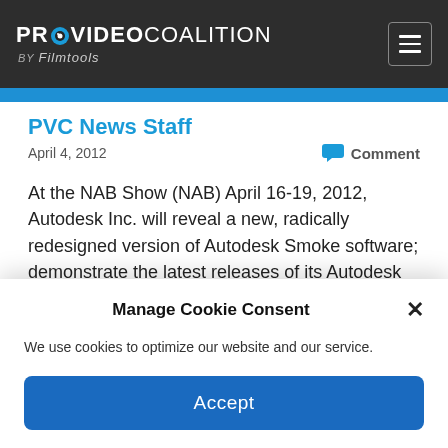PROVIDEO COALITION BY Filmtools
PVC News Staff
April 4, 2012
Comment
At the NAB Show (NAB) April 16-19, 2012, Autodesk Inc. will reveal a new, radically redesigned version of Autodesk Smoke software; demonstrate the latest releases of its Autodesk Entertainment Creation Suite…
Manage Cookie Consent
We use cookies to optimize our website and our service.
Accept